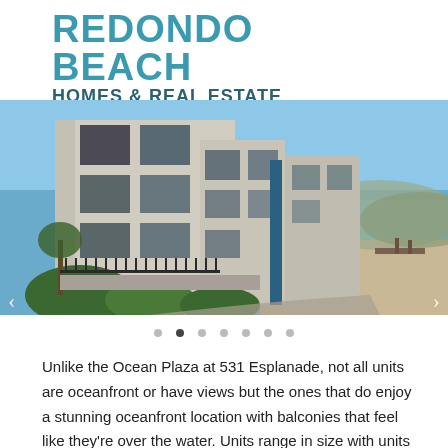REDONDO BEACH HOMES & REAL ESTATE
[Figure (photo): Exterior view of beachfront condominiums in Redondo Beach with ocean and beach visible in the background]
Unlike the Ocean Plaza at 531 Esplanade, not all units are oceanfront or have views but the ones that do enjoy a stunning oceanfront location with balconies that feel like they're over the water. Units range in size with units facing the street side, with